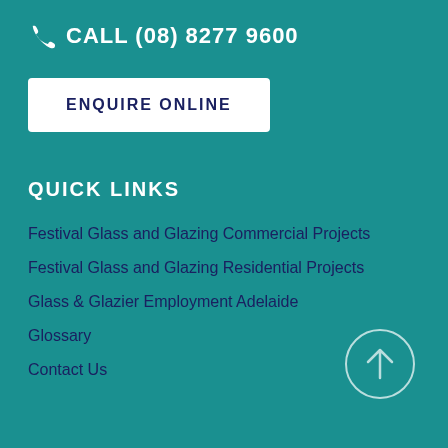CALL (08) 8277 9600
ENQUIRE ONLINE
QUICK LINKS
Festival Glass and Glazing Commercial Projects
Festival Glass and Glazing Residential Projects
Glass & Glazier Employment Adelaide
Glossary
Contact Us
[Figure (illustration): Back to top arrow button — circle with upward arrow inside]